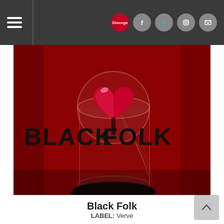Navigation bar with hamburger menu and social icons (Discogs, Facebook, Twitter, Instagram, Mail)
[Figure (photo): Album cover art for 'Black Folk' — a dark red background with a cracked glass bell jar/dome containing a red heart-shaped object on a black circular base. The text 'BLACK FOLK' is written in large black handwritten lettering across the center of the image.]
Black Folk
LABEL: Verve